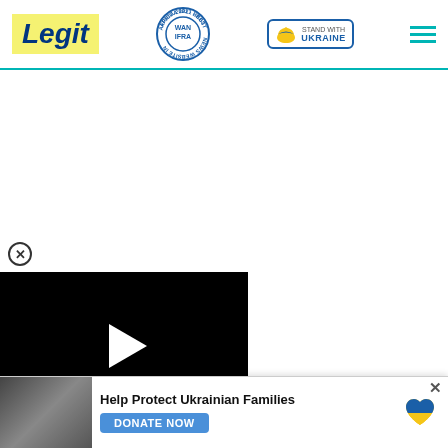[Figure (logo): Legit.ng logo with yellow background, dark blue italic bold text, next to WAN-IFRA Africa 2021 Best News Website award badge, Stand With Ukraine button with heart icon, and hamburger menu icon]
[Figure (screenshot): Black video player with white play button triangle in center]
[Figure (infographic): Red collapse/minimize button with white chevron pointing down]
[Figure (infographic): Donation banner: Help Protect Ukrainian Families with image of people, DONATE NOW button, Ukrainian heart icon, and X close button]